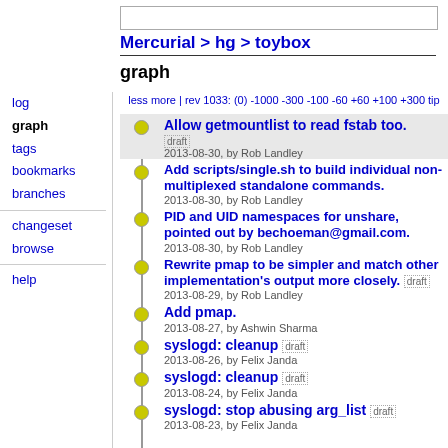Mercurial > hg > toybox
graph
less more | rev 1033: (0) -1000 -300 -100 -60 +60 +100 +300 tip
Allow getmountlist to read fstab too. draft 2013-08-30, by Rob Landley
Add scripts/single.sh to build individual non-multiplexed standalone commands. 2013-08-30, by Rob Landley
PID and UID namespaces for unshare, pointed out by bechoeman@gmail.com. 2013-08-30, by Rob Landley
Rewrite pmap to be simpler and match other implementation's output more closely. draft 2013-08-29, by Rob Landley
Add pmap. 2013-08-27, by Ashwin Sharma
syslogd: cleanup draft 2013-08-26, by Felix Janda
syslogd: cleanup draft 2013-08-24, by Felix Janda
syslogd: stop abusing arg_list draft 2013-08-23, by Felix Janda